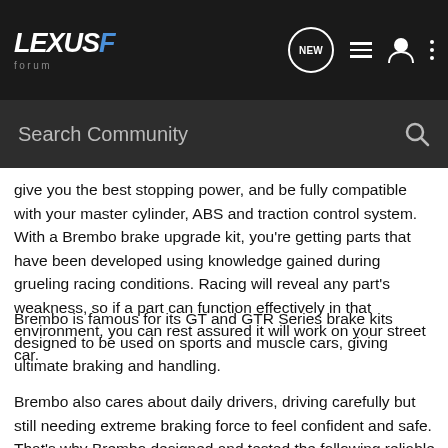[Figure (screenshot): Lexus F Forum navigation bar with logo, NEW chat icon, list icon, user icon, and dots menu icon on dark background]
[Figure (screenshot): Search Community search bar with magnifying glass icon on dark background]
give you the best stopping power, and be fully compatible with your master cylinder, ABS and traction control system. With a Brembo brake upgrade kit, you're getting parts that have been developed using knowledge gained during grueling racing conditions. Racing will reveal any part's weakness, so if a part can function effectively in that environment, you can rest assured it will work on your street car.
Brembo is famous for its GT and GTR Series brake kits designed to be used on sports and muscle cars, giving ultimate braking and handling.
Brembo also cares about daily drivers, driving carefully but still needing extreme braking force to feel confident and safe. That's why Brembo designed and tested the following reliable and